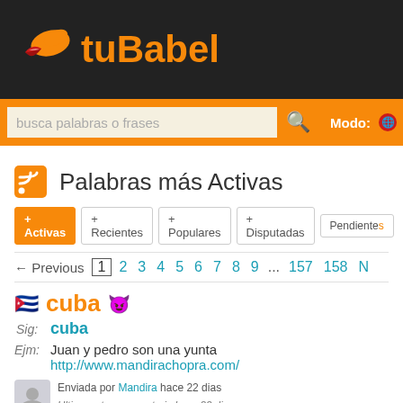[Figure (logo): tuBabel website logo with orange lips/flame icon and orange bold text 'tuBabel' on dark background]
busca palabras o frases | Modo:
Palabras más Activas
+ Activas | + Recientes | + Populares | + Disputadas | Pendientes
← Previous  1  2  3  4  5  6  7  8  9  ...  157  158  N
cuba 😈
Sig: cuba
Ejm: Juan y pedro son una yunta http://www.mandirachopra.com/
Enviada por Mandira hace 22 dias
Ultimo voto o comentario hace 22 dias